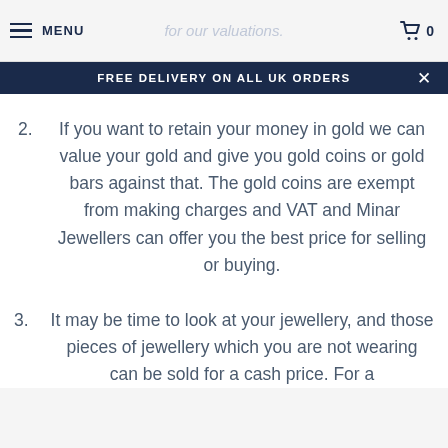MENU | for our valuations. | 0
FREE DELIVERY ON ALL UK ORDERS
2. If you want to retain your money in gold we can value your gold and give you gold coins or gold bars against that. The gold coins are exempt from making charges and VAT and Minar Jewellers can offer you the best price for selling or buying.
3. It may be time to look at your jewellery, and those pieces of jewellery which you are not wearing can be sold for a cash price. For a